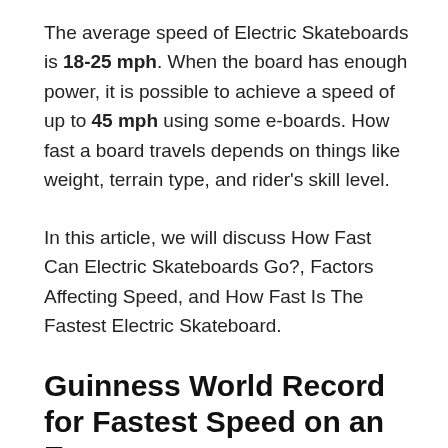The average speed of Electric Skateboards is 18-25 mph. When the board has enough power, it is possible to achieve a speed of up to 45 mph using some e-boards. How fast a board travels depends on things like weight, terrain type, and rider's skill level.
In this article, we will discuss How Fast Can Electric Skateboards Go?, Factors Affecting Speed, and How Fast Is The Fastest Electric Skateboard.
Guinness World Record for Fastest Speed on an E...